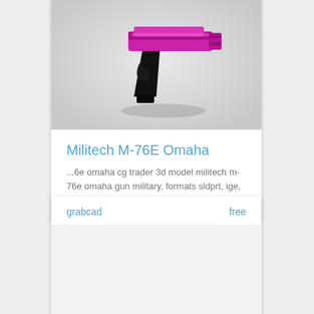[Figure (photo): 3D render of a purple/pink futuristic pistol (Militech M-76E Omaha) on a white/grey background]
Militech M-76E Omaha
...6e omaha cg trader 3d model militech m-76e omaha gun military, formats sldprt, ige, stp, sat, bip, ready for 3d animation and ot
grabcad   free
[Figure (photo): Broken image placeholder for LCM 3 Omaha + jeep]
LCM 3 Omaha + jeep